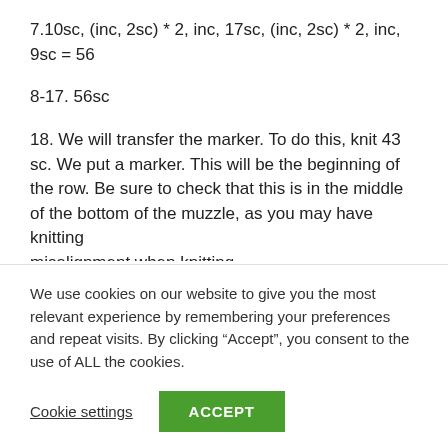7.10sc, (inc, 2sc) * 2, inc, 17sc, (inc, 2sc) * 2, inc, 9sc = 56
8-17. 56sc
18. We will transfer the marker. To do this, knit 43 sc. We put a marker. This will be the beginning of the row. Be sure to check that this is in the middle of the bottom of the muzzle, as you may have knitting misalignment when knitting
We use cookies on our website to give you the most relevant experience by remembering your preferences and repeat visits. By clicking “Accept”, you consent to the use of ALL the cookies.
Cookie settings
ACCEPT